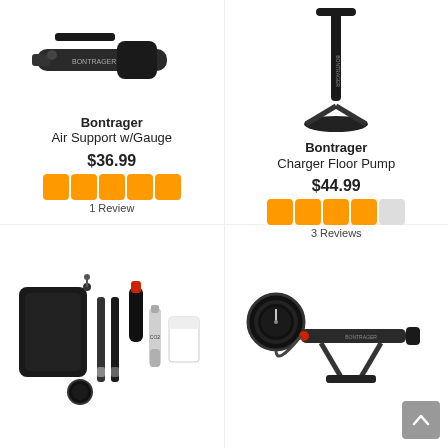[Figure (photo): Bontrager Air Support with Gauge mini pump, black, shown horizontally]
Bontrager
Air Support w/Gauge
$36.99
[Figure (other): 5 orange filled star rating icons]
1 Review
[Figure (photo): Bontrager Charger Floor Pump, tall black floor pump shown vertically]
Bontrager
Charger Floor Pump
$44.99
[Figure (other): 4 orange filled star rating icons and 1 empty star]
3 Reviews
[Figure (photo): Bicycle repair kit with black case, tire levers, CO2 inflator, CO2 cartridge, and patch kit]
[Figure (photo): Bontrager bike pump with pressure gauge, black, shown at angle]